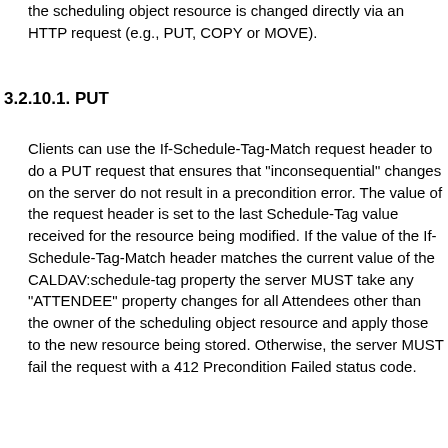the scheduling object resource is changed directly via an HTTP request (e.g., PUT, COPY or MOVE).
3.2.10.1. PUT
Clients can use the If-Schedule-Tag-Match request header to do a PUT request that ensures that "inconsequential" changes on the server do not result in a precondition error. The value of the request header is set to the last Schedule-Tag value received for the resource being modified. If the value of the If-Schedule-Tag-Match header matches the current value of the CALDAV:schedule-tag property the server MUST take any "ATTENDEE" property changes for all Attendees other than the owner of the scheduling object resource and apply those to the new resource being stored. Otherwise, the server MUST fail the request with a 412 Precondition Failed status code.